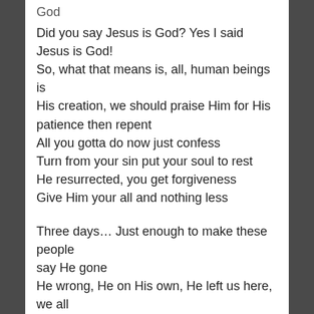God
Did you say Jesus is God? Yes I said Jesus is God!
So, what that means is, all, human beings is
His creation, we should praise Him for His
patience then repent
All you gotta do now just confess
Turn from your sin put your soul to rest
He resurrected, you get forgiveness
Give Him your all and nothing less
Three days… Just enough to make these people
say He gone
He wrong, He on His own, He left us here, we all
alone
But naw… You got it twisted
Clear like the sky but I guess you missed it
But we ain't done yet, 'til there ain't none left, be